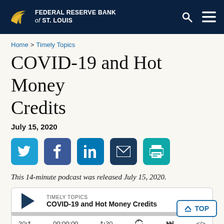Federal Reserve Bank of St. Louis
Home > Timely Topics
COVID-19 and Hot Money Credits
July 15, 2020
[Figure (other): Social sharing buttons: Twitter, Facebook, LinkedIn, Email, Print]
This 14-minute podcast was released July 15, 2020.
[Figure (other): Audio player widget showing TIMELY TOPICS podcast: COVID-19 and Hot Money Credits, with play button, progress bar, and controls showing 00:00:00 timestamp and skip controls]